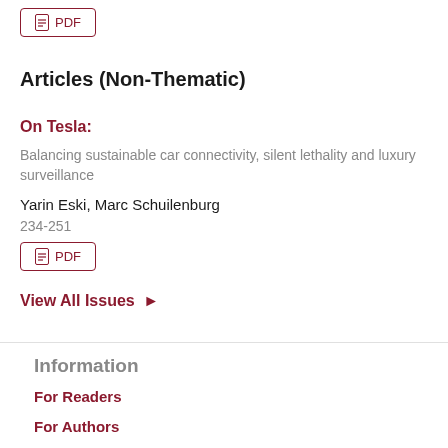PDF
Articles (Non-Thematic)
On Tesla:
Balancing sustainable car connectivity, silent lethality and luxury surveillance
Yarin Eski, Marc Schuilenburg
234-251
PDF
View All Issues
Information
For Readers
For Authors